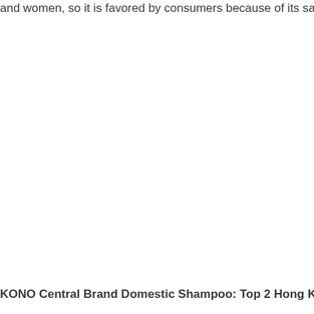and women, so it is favored by consumers because of its savin
KONO Central Brand Domestic Shampoo: Top 2 Hong Kong sha